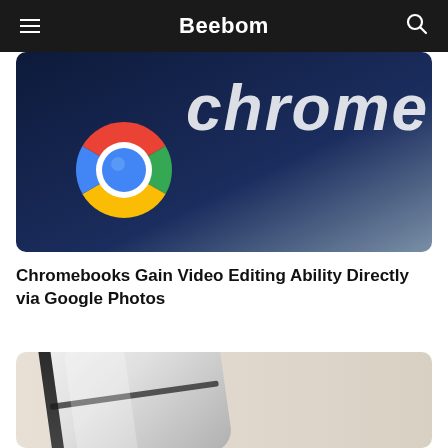Beebom
[Figure (photo): Dark blue background with Chrome logo (circle with red, green, yellow segments and blue center) and partial text 'chrome' in white italic letters]
Chromebooks Gain Video Editing Ability Directly via Google Photos
[Figure (photo): Close-up of a white/silver foldable phone corner against a beige/cream background]